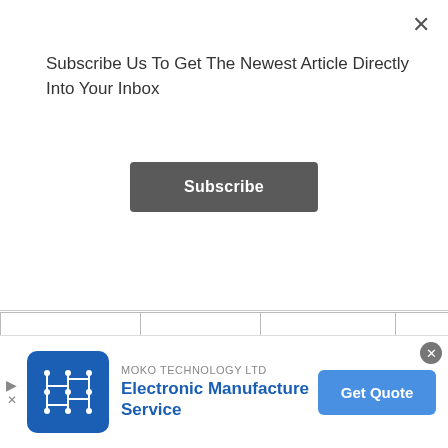Subscribe Us To Get The Newest Article Directly Into Your Inbox
Subscribe
|  |  |  |  |  |
| --- | --- | --- | --- | --- |
| Central Lock and Speed Sensing Lock | Yes | Yes | Yes |  |
|  |  | Yes- CD Player With | Yes- CD Player With |  |
[Figure (logo): MOKO TECHNOLOGY LTD logo with circuit board pattern on blue background]
MOKO TECHNOLOGY LTD Electronic Manufacture Service
Get Quote